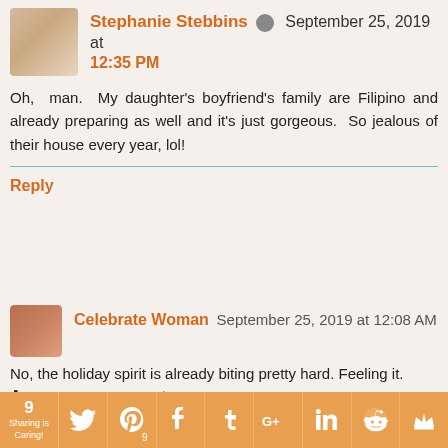Stephanie Stebbins  September 25, 2019 at 12:35 PM
Oh, man. My daughter's boyfriend's family are Filipino and already preparing as well and it's just gorgeous. So jealous of their house every year, lol!
Reply
Celebrate Woman  September 25, 2019 at 12:08 AM
No, the holiday spirit is already biting pretty hard. Feeling it.
Reply
Anonymous  September 25, 2019 at 1:42 AM
No, not at all. My family starts to buy some Christmas decor. We still have some but we are adding new ideas. I
9 Sharing is Caring!  [Twitter] [Pinterest 9] [Facebook] [Tumblr] [Google+] [LinkedIn] [Reddit] [crown]